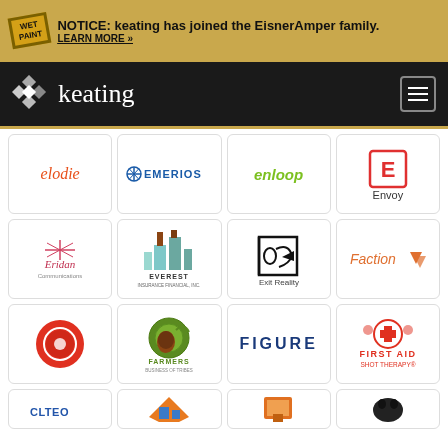NOTICE: Keating has joined the EisnerAmper family. LEARN MORE »
[Figure (logo): Keating logo with diamond pattern on dark navigation bar]
[Figure (logo): elodie logo - orange italic text]
[Figure (logo): EMERIOS logo - blue text with snowflake icon]
[Figure (logo): enloop logo - green italic text]
[Figure (logo): Envoy logo - red E in square box]
[Figure (logo): Eridan Communications logo - red/pink text with cross motif]
[Figure (logo): Everest logo with brown building graphic]
[Figure (logo): Exit Reality logo - person running through door]
[Figure (logo): Faction logo - orange text with triangles]
[Figure (logo): Red circular logo (unidentified)]
[Figure (logo): Farmers Business of Tribes logo - green circular with coconut]
[Figure (logo): FIGURE logo - dark blue bold text]
[Figure (logo): First Aid Shot Therapy logo - red cross with gear]
[Figure (logo): Partially visible logos in bottom row]